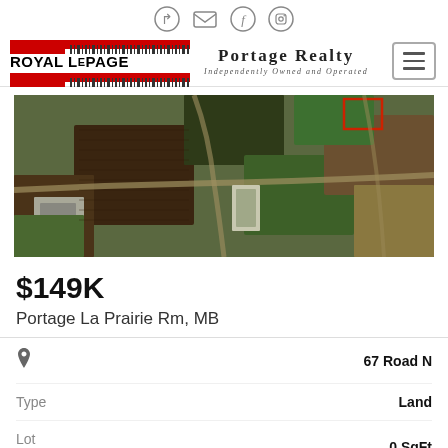Royal LePage Portage Realty — Independently Owned and Operated
[Figure (photo): Aerial satellite map view of farmland and roads near Portage La Prairie, Manitoba, with a red highlighted parcel in the upper right area]
$149K
Portage La Prairie Rm, MB
| Field | Value |
| --- | --- |
| 📍 | 67 Road N |
| Type | Land |
| Lot Size | 0 SqFt |